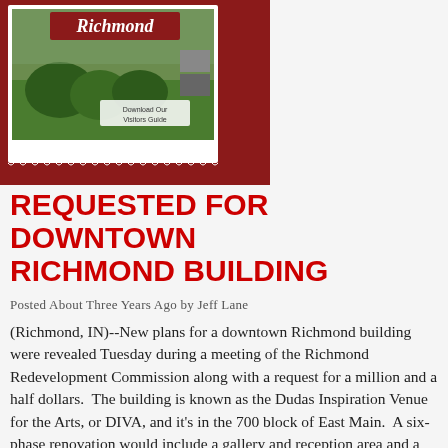[Figure (photo): Richmond Indiana visitors guide brochure/postcard image showing green fields and trees with text 'Richmond' and 'Download Our Visitors Guide', displayed on a dark red/maroon background]
REQUESTED FOR DOWNTOWN RICHMOND BUILDING
Posted About Three Years Ago by Jeff Lane
(Richmond, IN)--New plans for a downtown Richmond building were revealed Tuesday during a meeting of the Richmond Redevelopment Commission along with a request for a million and a half dollars.  The building is known as the Dudas Inspiration Venue for the Arts, or DIVA, and it's in the 700 block of East Main.  A six-phase renovation would include a gallery and reception area and a community conference room on the lower floors.  The third and fourth floors would include a lobby, box office, and kitchen.  The final phase would create a rooftop party deck.  The